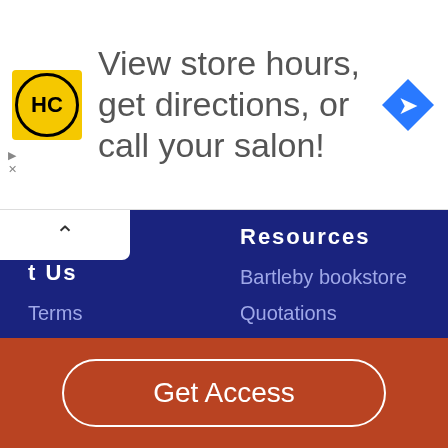[Figure (other): Advertisement banner with HC logo and text 'View store hours, get directions, or call your salon!' with a blue direction arrow icon]
t Us
Resources
Terms
Privacy
CA Privacy Policy
Copyright
Contact
Accessibility
CA Do Not Sell My Personal Information
Bartleby bookstore
Quotations
Bible
Top 150
Essay Help
Subjects
Get Access